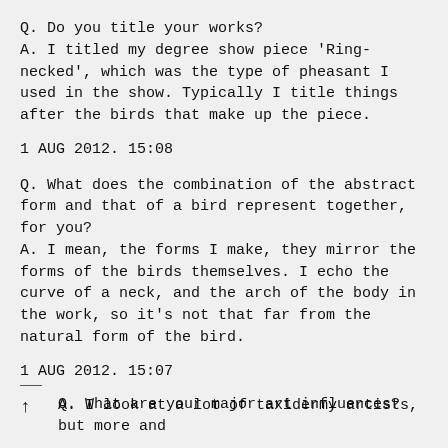Q. Do you title your works?
A. I titled my degree show piece 'Ring-necked', which was the type of pheasant I used in the show. Typically I title things after the birds that make up the piece.
1 AUG 2012. 15:08
Q. What does the combination of the abstract form and that of a bird represent together, for you?
A. I mean, the forms I make, they mirror the forms of the birds themselves. I echo the curve of a neck, and the arch of the body in the work, so it's not that far from the natural form of the bird.
1 AUG 2012. 15:07
Q. What are your major art influences?
A. I look at a lot of taxidermy artists, but more and